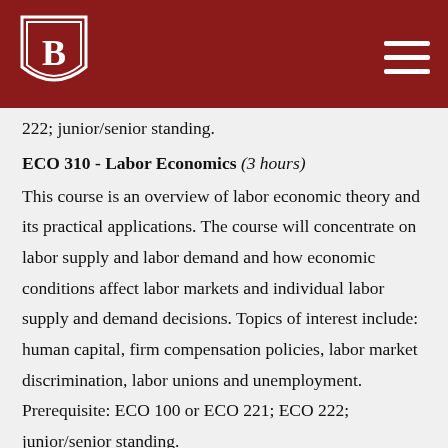Bradley University logo and navigation
222; junior/senior standing.
ECO 310 - Labor Economics (3 hours)
This course is an overview of labor economic theory and its practical applications. The course will concentrate on labor supply and labor demand and how economic conditions affect labor markets and individual labor supply and demand decisions. Topics of interest include: human capital, firm compensation policies, labor market discrimination, labor unions and unemployment. Prerequisite: ECO 100 or ECO 221; ECO 222; junior/senior standing.
ECO 319 - Introduction to Econometrics (3